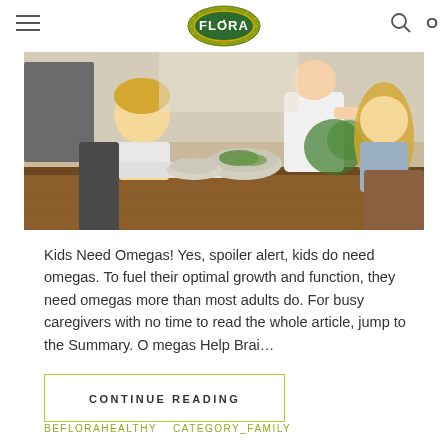FLORA
[Figure (photo): Family scene: two children and an adult at a wooden kitchen table with salad bowls and green plants]
Kids Need Omegas! Yes, spoiler alert, kids do need omegas. To fuel their optimal growth and function, they need omegas more than most adults do. For busy caregivers with no time to read the whole article, jump to the Summary. O megas Help Brai…
CONTINUE READING
BEFLORAHEALTHY   CATEGORY_FAMILY